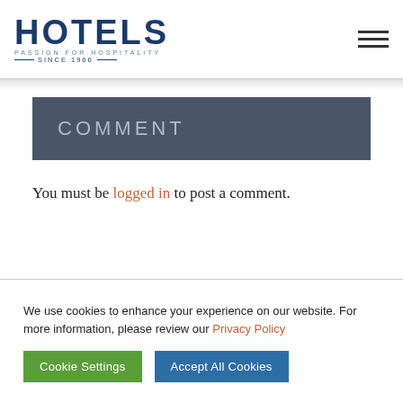HOTELS — PASSION FOR HOSPITALITY — SINCE 1966
COMMENT
You must be logged in to post a comment.
We use cookies to enhance your experience on our website. For more information, please review our Privacy Policy
Cookie Settings   Accept All Cookies